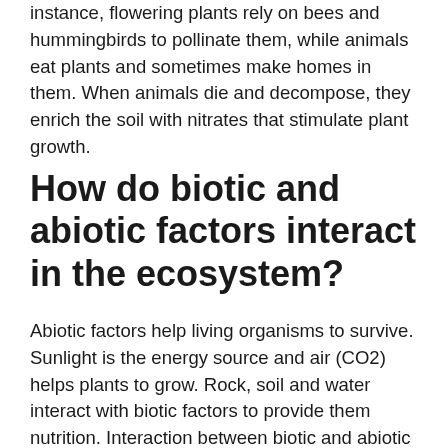instance, flowering plants rely on bees and hummingbirds to pollinate them, while animals eat plants and sometimes make homes in them. When animals die and decompose, they enrich the soil with nitrates that stimulate plant growth.
How do biotic and abiotic factors interact in the ecosystem?
Abiotic factors help living organisms to survive. Sunlight is the energy source and air (CO2) helps plants to grow. Rock, soil and water interact with biotic factors to provide them nutrition. Interaction between biotic and abiotic factors helps to change the